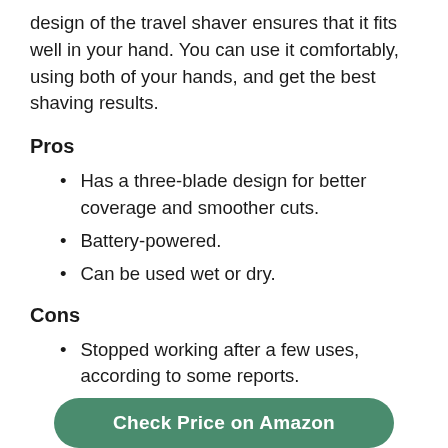design of the travel shaver ensures that it fits well in your hand. You can use it comfortably, using both of your hands, and get the best shaving results.
Pros
Has a three-blade design for better coverage and smoother cuts.
Battery-powered.
Can be used wet or dry.
Cons
Stopped working after a few uses, according to some reports.
Check Price on Amazon